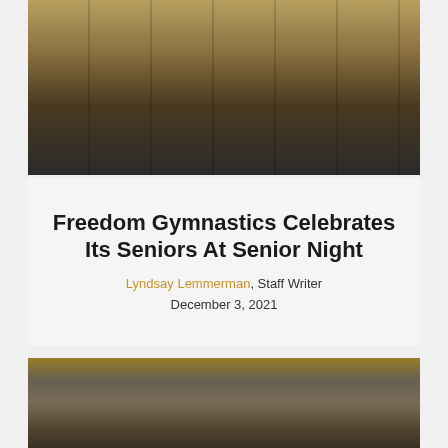[Figure (photo): Gymnastics team members sitting on bleachers in a gymnasium with black and gold equipment visible]
Freedom Gymnastics Celebrates Its Seniors At Senior Night
Lyndsay Lemmerman, Staff Writer
December 3, 2021
[Figure (photo): Basketball players on a court in a gymnasium with gold bleachers in background; players wearing dark purple and white uniforms including jersey numbers 12, 5, 3, 40, 25, 20]